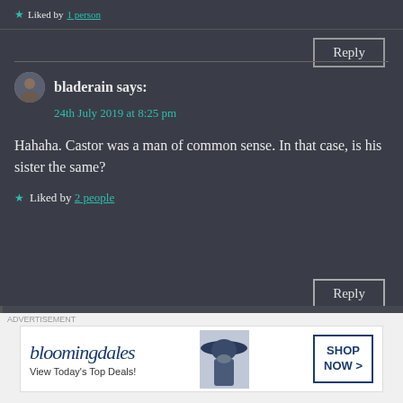★ Liked by 1 person
Reply
bladerain says:
24th July 2019 at 8:25 pm
Hahaha. Castor was a man of common sense. In that case, is his sister the same?
★ Liked by 2 people
Reply
twomorefreethoughts says:
ADVERTISEMENT
[Figure (other): Bloomingdale's advertisement banner with logo, 'View Today's Top Deals!' text, woman in hat, and Shop Now button]